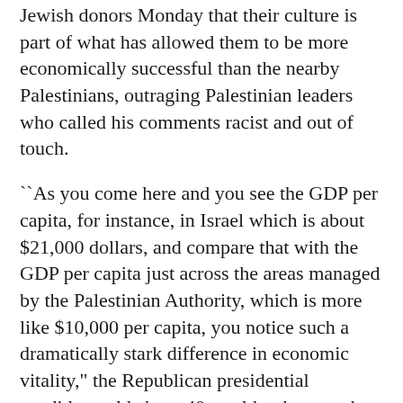Jewish donors Monday that their culture is part of what has allowed them to be more economically successful than the nearby Palestinians, outraging Palestinian leaders who called his comments racist and out of touch.
``As you come here and you see the GDP per capita, for instance, in Israel which is about $21,000 dollars, and compare that with the GDP per capita just across the areas managed by the Palestinian Authority, which is more like $10,000 per capita, you notice such a dramatically stark difference in economic vitality," the Republican presidential candidate told about 40 wealthy donors who breakfasted around a U-shaped table at the luxurious King David Hotel.
The reaction of Palestinian leaders to Romney's comments was swift and pointed.
``What is this man doing here?" said Saeb Erekat, a top Palestinian official. ``Yesterday, he destroyed negotiations by saying Jerusalem is the capital of Israel, and today he is